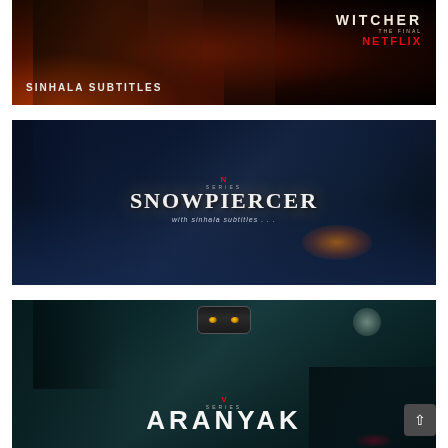[Figure (photo): The Witcher Netflix series banner with dark fantasy imagery, fire effects, characters, text 'SINHALA SUBTITLES' at bottom-left and 'WITCHER NETFLIX' logo at top-right]
[Figure (photo): Snowpiercer Netflix series banner showing multiple characters in sci-fi/dystopian setting with title 'SNOWPIERCER' and text 'with sinhala subtitles' below]
[Figure (photo): Aranyak Netflix V Series banner showing three police officers with guns drawn, rearview mirror with cat eyes at top, title 'ARANYAK', moon visible, forest setting]